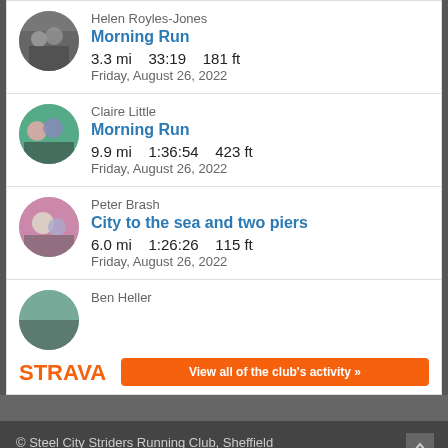Helen Royles-Jones — Morning Run — 3.3 mi  33:19  181 ft — Friday, August 26, 2022
Claire Little — Morning Run — 9.9 mi  1:36:54  423 ft — Friday, August 26, 2022
Peter Brash — City to the sea and two piers — 6.0 mi  1:26:26  115 ft — Friday, August 26, 2022
Ben Heller
[Figure (logo): Strava logo in orange]
View all of the club's activity »
© Steel City Striders Running Club, Sheffield
Powered by WordPress using NewsPlus Theme